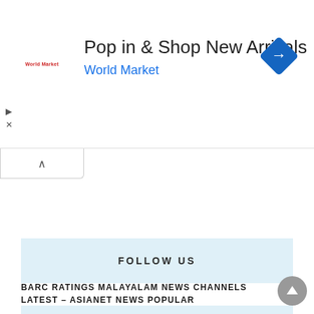[Figure (screenshot): Advertisement banner for World Market: 'Pop in & Shop New Arrivals' with World Market logo and blue navigation arrow diamond icon]
[Figure (screenshot): Collapse/close button with upward chevron caret]
FOLLOW US
POPULAR POSTS
BARC RATINGS MALAYALAM NEWS CHANNELS LATEST – ASIANET NEWS POPULAR